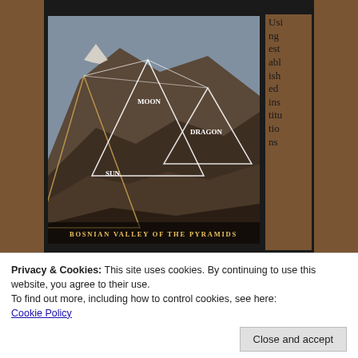[Figure (photo): Aerial/landscape photo of the Bosnian Valley of the Pyramids showing mountain formations with overlaid white triangle lines connecting peaks labeled MOON, SUN, and DRAGON. Caption reads 'BOSNIAN VALLEY OF THE PYRAMIDS'.]
Using established institutions to routinely dress false positives or negatives as “facts”, places the system in the supreme position of being able to present any fantasy as
Privacy & Cookies: This site uses cookies. By continuing to use this website, you agree to their use.
To find out more, including how to control cookies, see here:
Cookie Policy
Close and accept